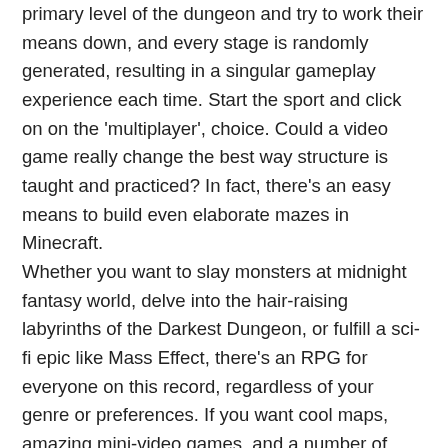primary level of the dungeon and try to work their means down, and every stage is randomly generated, resulting in a singular gameplay experience each time. Start the sport and click on on the 'multiplayer', choice. Could a video game really change the best way structure is taught and practiced? In fact, there's an easy means to build even elaborate mazes in Minecraft.
Whether you want to slay monsters at midnight fantasy world, delve into the hair-raising labyrinths of the Darkest Dungeon, or fulfill a sci-fi epic like Mass Effect, there's an RPG for everyone on this record, regardless of your genre or preferences. If you want cool maps, amazing mini-video games, and a number of random on-line gamers, Minecraft Java has you lined with all of the jazz. Players are unlikely to run into giant teams of other gamers, however there are often enough individuals to make MMORPG games, not single player video games that require connection to a server. As a